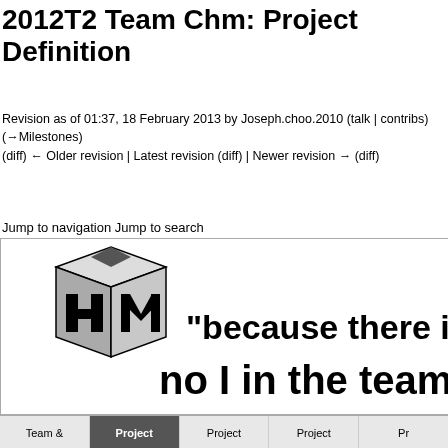2012T2 Team Chm: Project Definition
Revision as of 01:37, 18 February 2013 by Joseph.choo.2010 (talk | contribs) (→Milestones)
(diff) ← Older revision | Latest revision (diff) | Newer revision → (diff)
Jump to navigation Jump to search
[Figure (illustration): A 3D cube logo with stylized H and M letters, alongside the quote text: "because there is no I in the team"]
Team &    Project    Project    Project    Pr